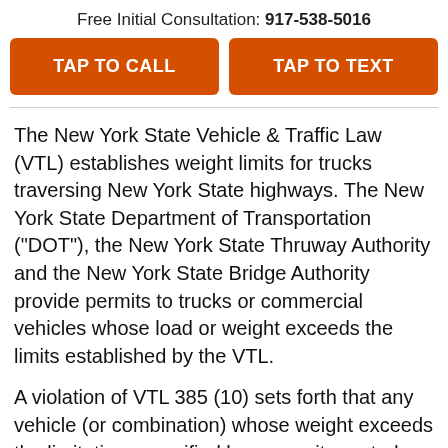Free Initial Consultation: 917-538-5016
TAP TO CALL
TAP TO TEXT
The New York State Vehicle & Traffic Law (VTL) establishes weight limits for trucks traversing New York State highways. The New York State Department of Transportation ("DOT"), the New York State Thruway Authority and the New York State Bridge Authority provide permits to trucks or commercial vehicles whose load or weight exceeds the limits established by the VTL.
A violation of VTL 385 (10) sets forth that any vehicle (or combination) whose weight exceeds the limitations specified by a permit granted